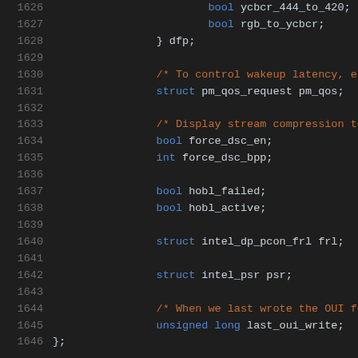Source code listing, lines 1626-1646, C struct definition with fields including ycbcr_444_to_420, rgb_to_ycbcr, pm_qos, force_dsc_en, force_dsc_bpp, hobl_failed, hobl_active, intel_dp_pcon_frl frl, intel_psr psr, last_oui_write